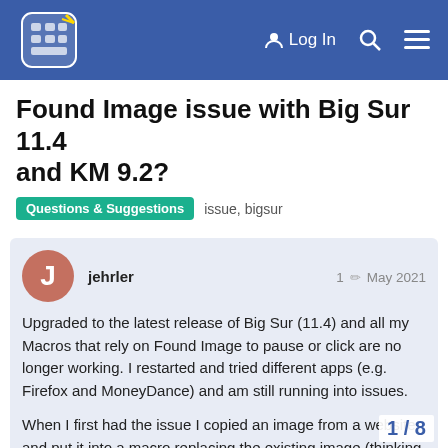[Figure (screenshot): Website header navigation bar with blue background, keyboard maestro logo, Log In button, search icon, and hamburger menu icon]
Found Image issue with Big Sur 11.4 and KM 9.2?
Questions & Suggestions   issue, bigsur
jehrler   1  May 2021
Upgraded to the latest release of Big Sur (11.4) and all my Macros that rely on Found Image to pause or click are no longer working. I restarted and tried different apps (e.g. Firefox and MoneyDance) and am still running into issues.

When I first had the issue I copied an image from a website and put it into a macro replacing the existing image (thinking it was slightly changed) and no matter how I put the fuzzy slider KM reports the found status as false. This is tr... images, websites and apps. Restarting the...
1 / 8